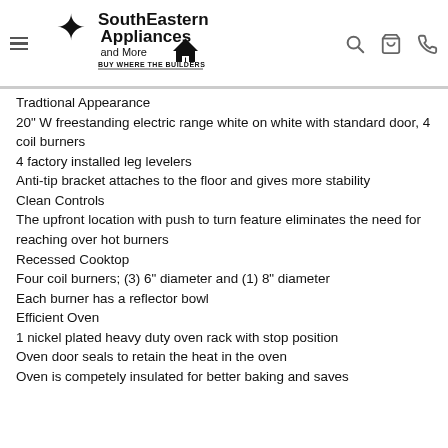SouthEastern Appliances and More — BUY WHERE THE BUILDERS BUY
Tradtional Appearance
20" W freestanding electric range white on white with standard door, 4 coil burners
4 factory installed leg levelers
Anti-tip bracket attaches to the floor and gives more stability
Clean Controls
The upfront location with push to turn feature eliminates the need for reaching over hot burners
Recessed Cooktop
Four coil burners; (3) 6" diameter and (1) 8" diameter
Each burner has a reflector bowl
Efficient Oven
1 nickel plated heavy duty oven rack with stop position
Oven door seals to retain the heat in the oven
Oven is competely insulated for better baking and saves